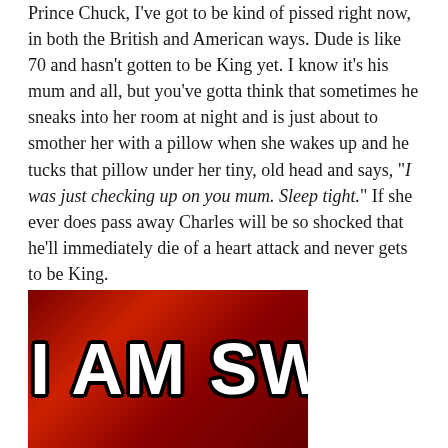Prince Chuck, I've got to be kind of pissed right now, in both the British and American ways. Dude is like 70 and hasn't gotten to be King yet. I know it's his mum and all, but you've gotta think that sometimes he sneaks into her room at night and is just about to smother her with a pillow when she wakes up and he tucks that pillow under her tiny, old head and says, "I was just checking up on you mum. Sleep tight." If she ever does pass away Charles will be so shocked that he'll immediately die of a heart attack and never gets to be King.
[Figure (photo): Meme image with red background showing text 'I AM SWAG' in large white Impact font with black outline]